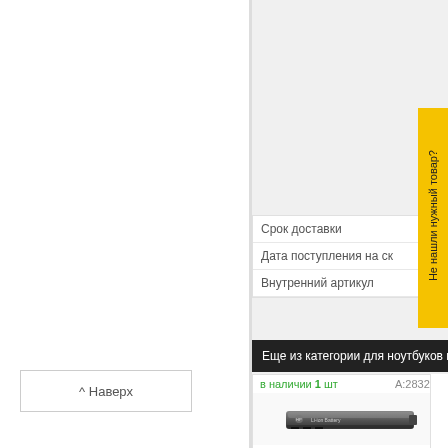Срок доставки
Дата поступления на ск
Внутренний артикул
Не нашли нужный товар?
Еще из категории для ноутбуков и н
в наличии 1 шт   A:283281
^ Наверх